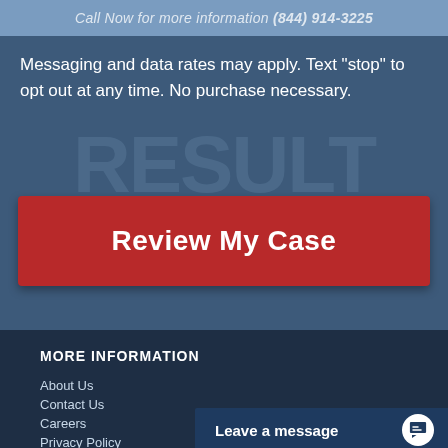Call Now for more information (844) 914-3225
Messaging and data rates may apply. Text "stop" to opt out at any time. No purchase necessary.
Review My Case
MORE INFORMATION
About Us
Contact Us
Careers
Privacy Policy
Leave a message